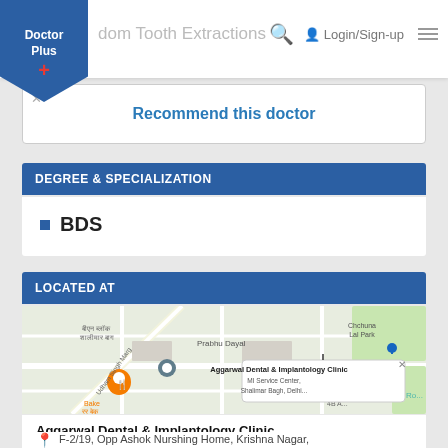Doctor Plus | Wisdom Tooth Extractions | Login/Sign-up
Recommend this doctor
DEGREE & SPECIALIZATION
BDS
LOCATED AT
[Figure (map): Google Maps showing location of Aggarwal Dental & Implantology Clinic in Shalimar Bagh, Delhi area. Map shows streets including Udham Singh Marg, areas like Prabhu Dayal, Chchuna Lal Park, and a popup label reading 'Aggarwal Dental & Implantology Clinic, MI Service Center, Shalimar Bagh, Delhi... MI सर्विस केन्द्र दिल्ली (बीएमसीप)']
Aggarwal Dental & Implantology Clinic
F-2/19, Opp Ashok Nurshing Home, Krishna Nagar, Block C Natha Pur, Rani in Delhi 110051, India